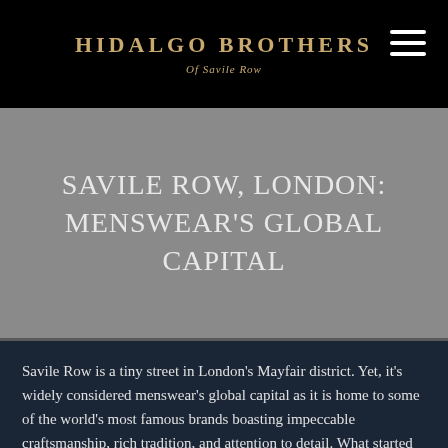HIDALGO BROTHERS
Of Savile Row
SAVILE ROW, LONDON: MENSWEAR'S GLOBAL CAPITAL
Savile Row is a tiny street in London's Mayfair district. Yet, it's widely considered menswear's global capital as it is home to some of the world's most famous brands boasting impeccable craftsmanship, rich tradition, and attention to detail. What started out as a few humble tailors have turned into a global hub for menswear, with celebrities, business tycoons, and royals relying on these artists for